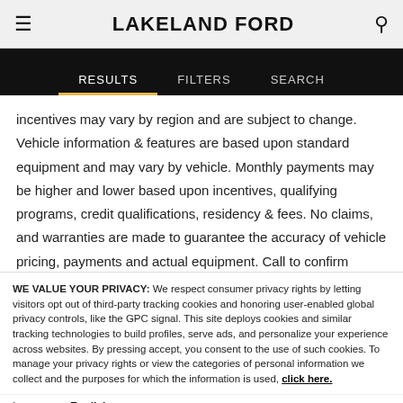LAKELAND FORD
RESULTS  FILTERS  SEARCH
incentives may vary by region and are subject to change. Vehicle information & features are based upon standard equipment and may vary by vehicle. Monthly payments may be higher and lower based upon incentives, qualifying programs, credit qualifications, residency & fees. No claims, and warranties are made to guarantee the accuracy of vehicle pricing, payments and actual equipment. Call to confirm accuracy of any information.* All prices are after all factory rebates and do not include taxes, tag, title, license, $998 dealer fee, $175 electronic filing fee and
WE VALUE YOUR PRIVACY: We respect consumer privacy rights by letting visitors opt out of third-party tracking cookies and honoring user-enabled global privacy controls, like the GPC signal. This site deploys cookies and similar tracking technologies to build profiles, serve ads, and personalize your experience across websites. By pressing accept, you consent to the use of such cookies. To manage your privacy rights or view the categories of personal information we collect and the purposes for which the information is used, click here.
Language: English  ∨  Powered by ComplyAuto
Accept and Continue →  Privacy Policy  ×